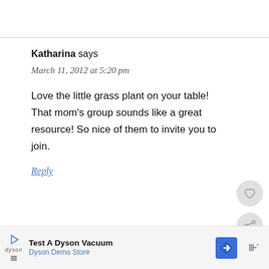Katharina says
March 11, 2012 at 5:20 pm
Love the little grass plant on your table! That mom's group sounds like a great resource! So nice of them to invite you to join.
Reply
[Figure (other): WHAT'S NEXT arrow with thumbnail photo and label '60 Candles']
Test A Dyson Vacuum Dyson Demo Store